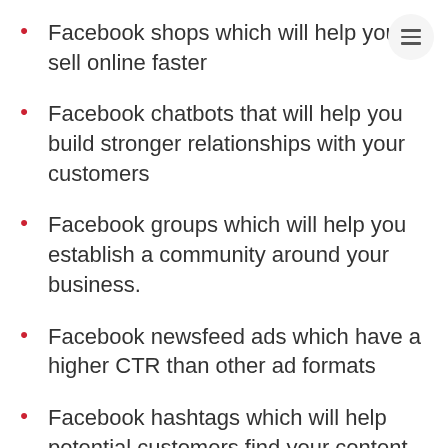Facebook shops which will help you sell online faster
Facebook chatbots that will help you build stronger relationships with your customers
Facebook groups which will help you establish a community around your business.
Facebook newsfeed ads which have a higher CTR than other ad formats
Facebook hashtags which will help potential customers find your content easier